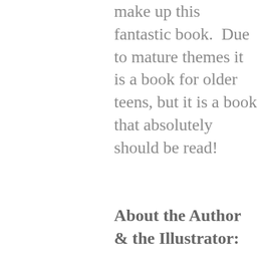make up this fantastic book. Due to mature themes it is a book for older teens, but it is a book that absolutely should be read!
About the Author & the Illustrator: